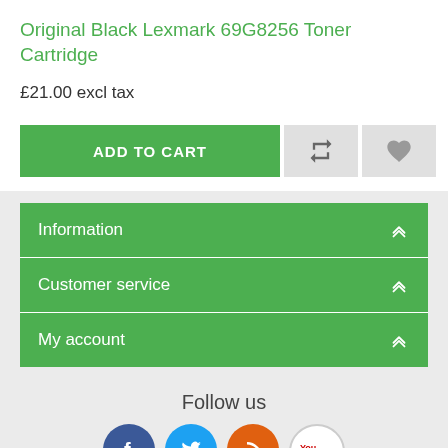Original Black Lexmark 69G8256 Toner Cartridge
£21.00 excl tax
ADD TO CART
Information
Customer service
My account
Follow us
[Figure (illustration): Social media icons: Facebook (blue circle with f), Twitter (blue circle with bird), RSS (orange circle with RSS icon), YouTube (white circle with YouTube logo)]